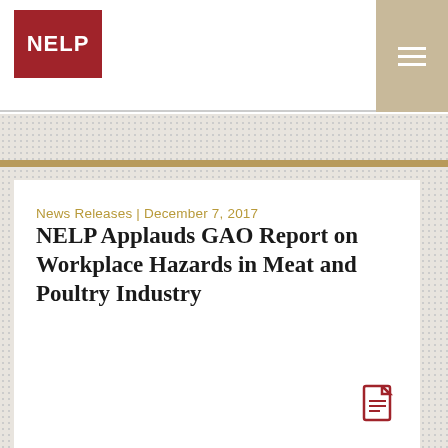NELP
News Releases | December 7, 2017
NELP Applauds GAO Report on Workplace Hazards in Meat and Poultry Industry